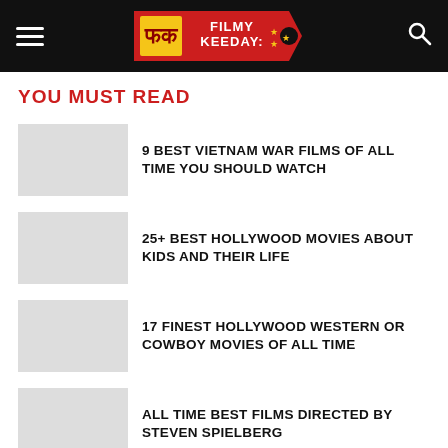Filmy Keeday
YOU MUST READ
9 BEST VIETNAM WAR FILMS OF ALL TIME YOU SHOULD WATCH
25+ BEST HOLLYWOOD MOVIES ABOUT KIDS AND THEIR LIFE
17 FINEST HOLLYWOOD WESTERN OR COWBOY MOVIES OF ALL TIME
ALL TIME BEST FILMS DIRECTED BY STEVEN SPIELBERG